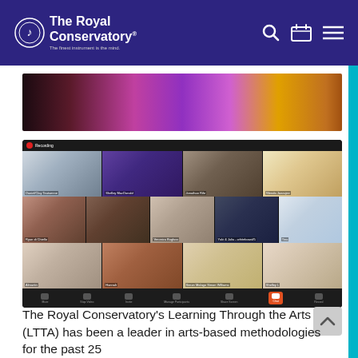The Royal Conservatory — The finest instrument is the mind.
[Figure (photo): A top-cropped photo of children or people at a table, with colorful items visible, dark and vibrant colors.]
[Figure (screenshot): A Zoom video call screenshot showing 12 participants in a 4x3 grid layout. The Zoom interface shows a toolbar at the bottom with controls for mute, video, participants, reactions, chat, and record. A red recording indicator is visible in the top left.]
The Royal Conservatory's Learning Through the Arts (LTTA) has been a leader in arts-based methodologies for the past 25